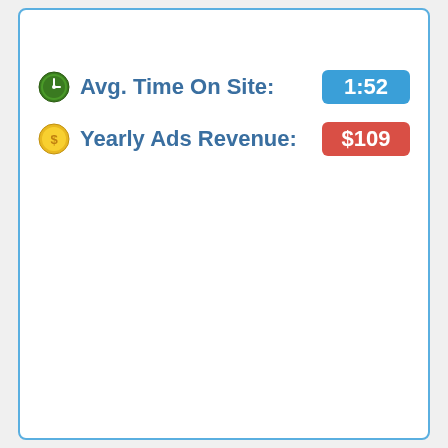Avg. Time On Site: 1:52
Yearly Ads Revenue: $109